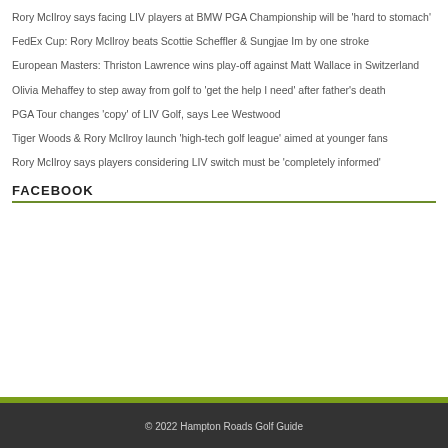Rory McIlroy says facing LIV players at BMW PGA Championship will be 'hard to stomach'
FedEx Cup: Rory McIlroy beats Scottie Scheffler & Sungjae Im by one stroke
European Masters: Thriston Lawrence wins play-off against Matt Wallace in Switzerland
Olivia Mehaffey to step away from golf to 'get the help I need' after father's death
PGA Tour changes 'copy' of LIV Golf, says Lee Westwood
Tiger Woods & Rory McIlroy launch 'high-tech golf league' aimed at younger fans
Rory McIlroy says players considering LIV switch must be 'completely informed'
FACEBOOK
© 2022 Hampton Roads Golf Guide